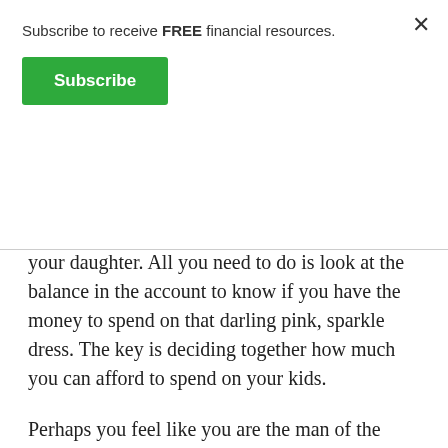Subscribe to receive FREE financial resources.
Subscribe
your daughter. All you need to do is look at the balance in the account to know if you have the money to spend on that darling pink, sparkle dress. The key is deciding together how much you can afford to spend on your kids.
Perhaps you feel like you are the man of the house and you should provide for your family. You are embarrassed that your income doesn't cover the basics and you get secret credit cards to cover the differences. Such as the case with my clients that were married 40 years. He felt that he was protecting his wife by not telling her about their dire circumstances. He meant well and he meant...